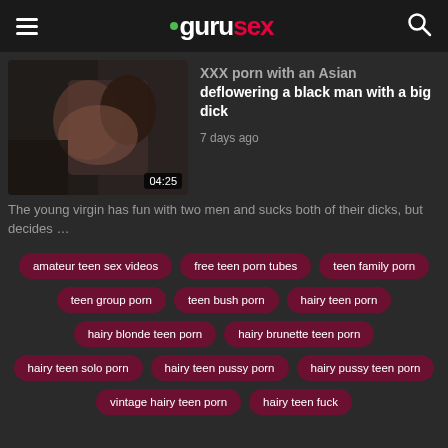gurusex
XXX porn with an Asian deflowering a black man with a big dick
7 days ago
The young virgin has fun with two men and sucks both of their dicks, but decides ...
amateur teen sex videos
free teen porn tubes
teen family porn
teen group porn
teen bush porn
hairy teen porn
hairy blonde teen porn
hairy brunette teen porn
hairy teen solo porn
hairy teen pussy porn
hairy pussy teen porn
vintage hairy teen porn
hairy teen fuck